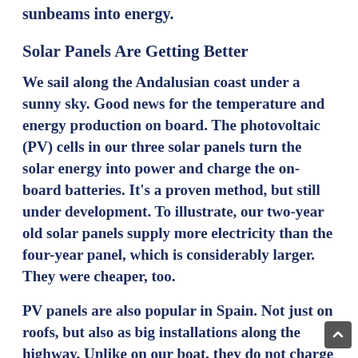sunbeams into energy.
Solar Panels Are Getting Better
We sail along the Andalusian coast under a sunny sky. Good news for the temperature and energy production on board. The photovoltaic (PV) cells in our three solar panels turn the solar energy into power and charge the on-board batteries. It’s a proven method, but still under development. To illustrate, our two-year old solar panels supply more electricity than the four-year panel, which is considerably larger. They were cheaper, too.
PV panels are also popular in Spain. Not just on roofs, but also as big installations along the highway. Unlike on our boat, they do not charge batteries but feed directly into the power grid. As a result, they only provide electricity when the sun